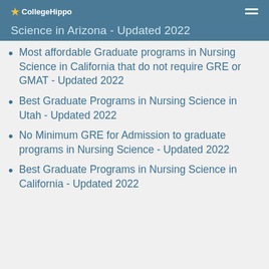CollegeHippo
Science in Arizona - Updated 2022
Most affordable Graduate programs in Nursing Science in California that do not require GRE or GMAT - Updated 2022
Best Graduate Programs in Nursing Science in Utah - Updated 2022
No Minimum GRE for Admission to graduate programs in Nursing Science - Updated 2022
Best Graduate Programs in Nursing Science in California - Updated 2022